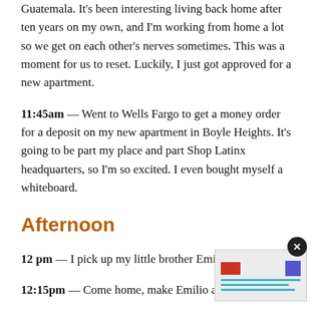Guatemala. It's been interesting living back home after ten years on my own, and I'm working from home a lot so we get on each other's nerves sometimes. This was a moment for us to reset. Luckily, I just got approved for a new apartment.
11:45am –– Went to Wells Fargo to get a money order for a deposit on my new apartment in Boyle Heights. It's going to be part my place and part Shop Latinx headquarters, so I'm so excited. I even bought myself a whiteboard.
Afternoon
12 pm –– I pick up my little brother Emilio from school.
12:15pm –– Come home, make Emilio and myself a